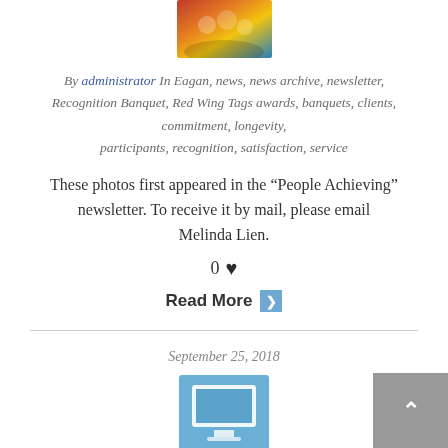[Figure (photo): Group photo thumbnail at the top of the article]
By administrator In Eagan, news, news archive, newsletter, Recognition Banquet, Red Wing Tags awards, banquets, clients, commitment, longevity, participants, recognition, satisfaction, service
These photos first appeared in the “People Achieving” newsletter. To receive it by mail, please email Melinda Lien.
0 ♥
Read More ▶
September 25, 2018
[Figure (illustration): Blue square icon with a computer monitor illustration]
Different staff roles, each